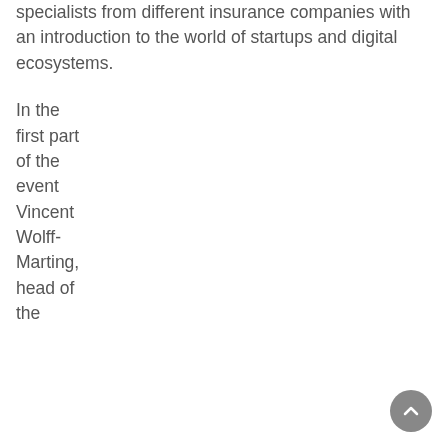specialists from different insurance companies with an introduction to the world of startups and digital ecosystems.
In the first part of the event Vincent Wolff-Marting, head of the